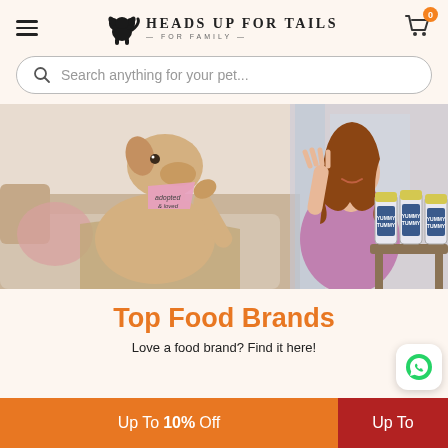HEADS UP FOR TAILS — FOR FAMILY
Search anything for your pet...
[Figure (photo): Hero banner showing a dog wearing a bandana giving a high five to a smiling woman sitting on a couch, with Yummy Tummy supplement jars visible in the background]
Top Food Brands
Love a food brand? Find it here!
Up To 10% Off
Up To